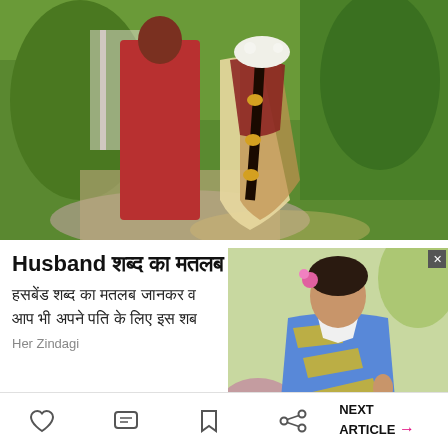[Figure (photo): Indian wedding couple outdoors — bride in embroidered saree with floral hair braid, groom in red sherwani, garden gazebo background]
Husband शब्द का मतलब ...
हसबेंड शब्द का मतलब जानकर व... आप भी अपने पति के लिए इस शब...
Her Zindagi
[Figure (photo): Popup overlay showing a woman in a blue and yellow striped denim jacket, smiling, with flowers in background]
[Figure (photo): Partial interior room image showing a beige/tan wall and ceiling]
NEXT ARTICLE →